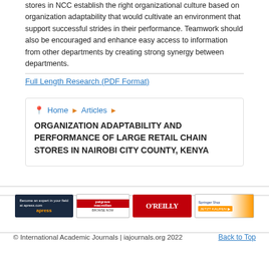stores in NCC establish the right organizational culture based on organization adaptability that would cultivate an environment that support successful strides in their performance. Teamwork should also be encouraged and enhance easy access to information from other departments by creating strong synergy between departments.
Full Length Research (PDF Format)
Home ▶ Articles ▶ ORGANIZATION ADAPTABILITY AND PERFORMANCE OF LARGE RETAIL CHAIN STORES IN NAIROBI CITY COUNTY, KENYA
[Figure (logo): Four publisher advertisement banners: Apress, Palgrave Macmillan, O'Reilly, and Springer]
© International Academic Journals | iajournals.org 2022   Back to Top